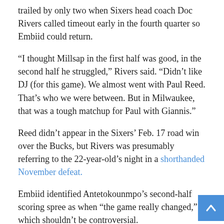trailed by only two when Sixers head coach Doc Rivers called timeout early in the fourth quarter so Embiid could return.
“I thought Millsap in the first half was good, in the second half he struggled,” Rivers said. “Didn’t like DJ (for this game). We almost went with Paul Reed. That’s who we were between. But in Milwaukee, that was a tough matchup for Paul with Giannis.”
Reed didn’t appear in the Sixers’ Feb. 17 road win over the Bucks, but Rivers was presumably referring to the 22-year-old’s night in a shorthanded November defeat.
Embiid identified Antetokounmpo’s second-half scoring spree as when “the game really changed,” which shouldn’t be controversial.
“I was on the bench,” he said. “The whole time that I was on the floor, I really made sure that I was always there to help...